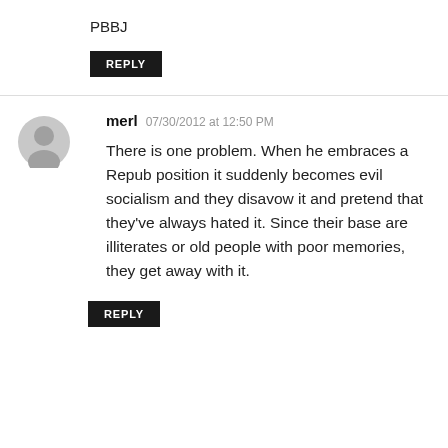PBBJ
REPLY
merl  07/30/2012 at 12:50 PM
There is one problem. When he embraces a Repub position it suddenly becomes evil socialism and they disavow it and pretend that they've always hated it. Since their base are illiterates or old people with poor memories, they get away with it.
REPLY